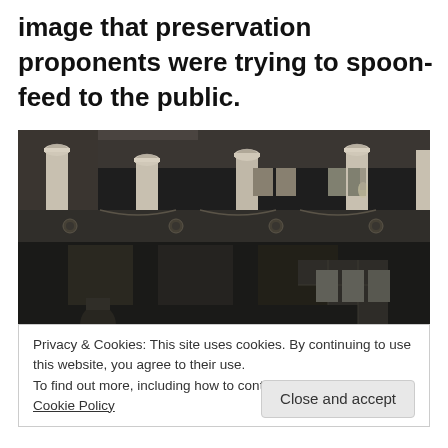image that preservation proponents were trying to spoon-feed to the public.
[Figure (photo): Black and white historical photograph of an ornate interior with tall classical columns with Corinthian capitals, decorative friezes, and what appears to be a grand lobby or hall with balconies.]
Privacy & Cookies: This site uses cookies. By continuing to use this website, you agree to their use.
To find out more, including how to control cookies, see here: Cookie Policy
Close and accept